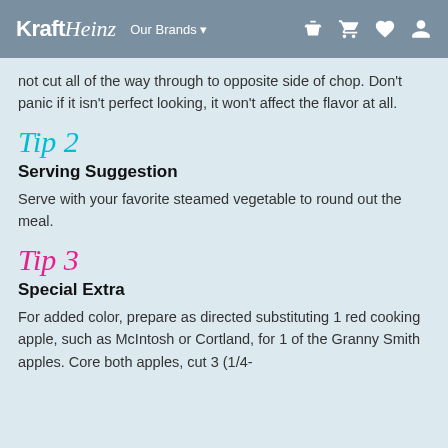Kraft Heinz  Our Brands
not cut all of the way through to opposite side of chop. Don't panic if it isn't perfect looking, it won't affect the flavor at all.
Tip 2
Serving Suggestion
Serve with your favorite steamed vegetable to round out the meal.
Tip 3
Special Extra
For added color, prepare as directed substituting 1 red cooking apple, such as McIntosh or Cortland, for 1 of the Granny Smith apples. Core both apples, cut 3 (1/4-